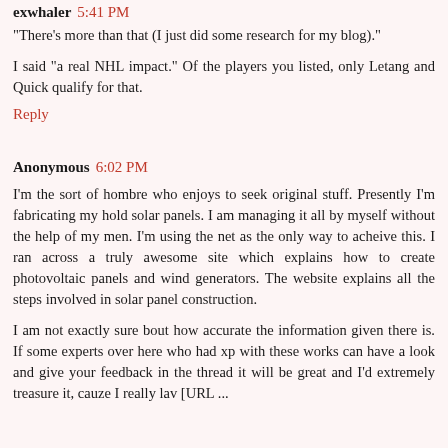exwhaler 5:41 PM
"There's more than that (I just did some research for my blog)."
I said "a real NHL impact." Of the players you listed, only Letang and Quick qualify for that.
Reply
Anonymous 6:02 PM
I'm the sort of hombre who enjoys to seek original stuff. Presently I'm fabricating my hold solar panels. I am managing it all by myself without the help of my men. I'm using the net as the only way to acheive this. I ran across a truly awesome site which explains how to create photovoltaic panels and wind generators. The website explains all the steps involved in solar panel construction.
I am not exactly sure bout how accurate the information given there is. If some experts over here who had xp with these works can have a look and give your feedback in the thread it will be great and I'd extremely treasure it, cauze I really lav [URL ...